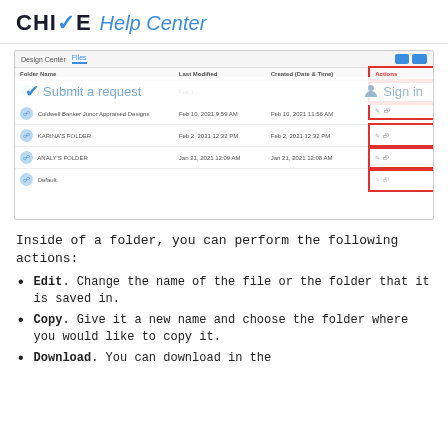CHIME Help Center
[Figure (screenshot): Screenshot of a folder management interface showing a table with Folder Name, Last Modified, Created Date & Time, and Actions columns. The Actions column is highlighted with a red border. An overlay shows 'Submit a request' and 'Sign in' links.]
Inside of a folder, you can perform the following actions:
Edit. Change the name of the file or the folder that it is saved in.
Copy. Give it a new name and choose the folder where you would like to copy it.
Download. You can download in the